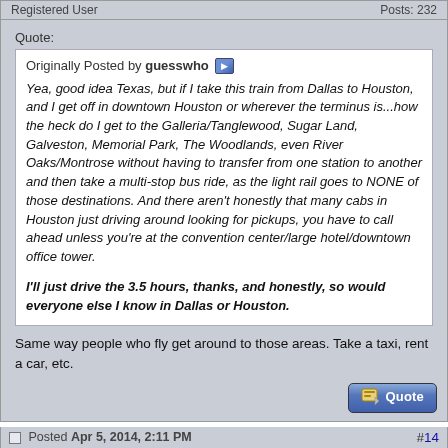Registered User | Posts: 232
Quote:
Originally Posted by guesswho
Yea, good idea Texas, but if I take this train from Dallas to Houston, and I get off in downtown Houston or wherever the terminus is...how the heck do I get to the Galleria/Tanglewood, Sugar Land, Galveston, Memorial Park, The Woodlands, even River Oaks/Montrose without having to transfer from one station to another and then take a multi-stop bus ride, as the light rail goes to NONE of those destinations. And there aren't honestly that many cabs in Houston just driving around looking for pickups, you have to call ahead unless you're at the convention center/large hotel/downtown office tower.

I'll just drive the 3.5 hours, thanks, and honestly, so would everyone else I know in Dallas or Houston.
Same way people who fly get around to those areas. Take a taxi, rent a car, etc.
Posted Apr 5, 2014, 2:11 PM #14
Join Date: Apr 2013
Location: Somewhere
Posts: 4,488